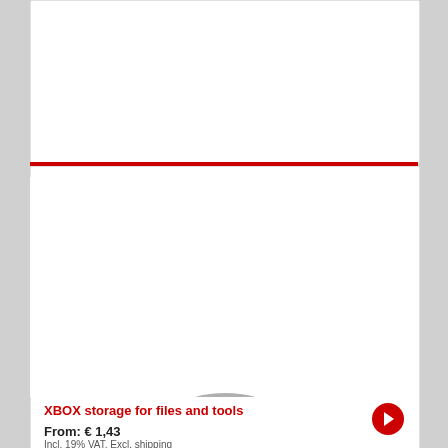[Figure (photo): Partial view of a product card at top of page, showing mostly white space with a small product image at the very top edge.]
[Figure (photo): Three cylindrical storage containers/canisters in silver, white, and dark grey colors arranged together. Product: XBOX storage for files and tools.]
XBOX storage for files and tools
From: € 1,43
Incl. 19% VAT, Excl. shipping